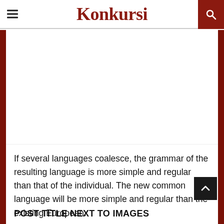Konkursi
[Figure (other): White blank image area below the header]
If several languages coalesce, the grammar of the resulting language is more simple and regular than that of the individual. The new common language will be more simple and regular than the existing European.
POST TITLE NEXT TO IMAGES